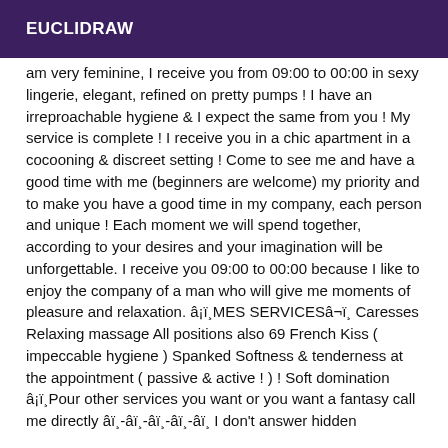EUCLIDRAW
am very feminine, I receive you from 09:00 to 00:00 in sexy lingerie, elegant, refined on pretty pumps ! I have an irreproachable hygiene & I expect the same from you ! My service is complete ! I receive you in a chic apartment in a cocooning & discreet setting ! Come to see me and have a good time with me (beginners are welcome) my priority and to make you have a good time in my company, each person and unique ! Each moment we will spend together, according to your desires and your imagination will be unforgettable. I receive you 09:00 to 00:00 because I like to enjoy the company of a man who will give me moments of pleasure and relaxation. â¡ï¸MES SERVICESâ¬ï¸ Caresses Relaxing massage All positions also 69 French Kiss ( impeccable hygiene ) Spanked Softness & tenderness at the appointment ( passive & active ! ) ! Soft domination â¡ï¸Pour other services you want or you want a fantasy call me directly âï¸-âï¸-âï¸-âï¸-âï¸ I don't answer hidden